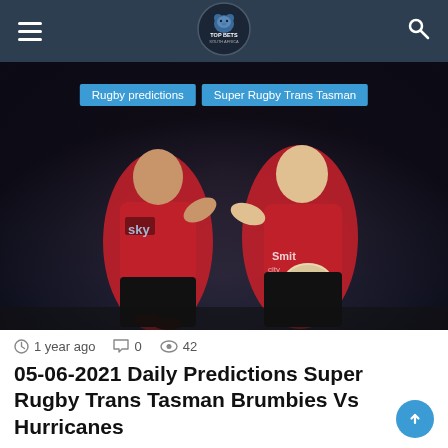Top Bets South Africa — navigation header
[Figure (photo): Two rugby players in red Crusaders jerseys celebrating, one holding a rugby ball, in a stadium setting at night]
Rugby predictions   Super Rugby Trans Tasman
1 year ago   0   42
05-06-2021 Daily Predictions Super Rugby Trans Tasman Brumbies Vs Hurricanes
Brumbies vs Hurricanes The Brumbies will be very disappointed with their